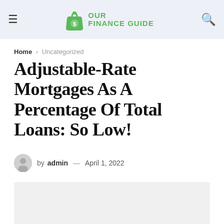Our Finance Guide
Home > Uncategorized
Adjustable-Rate Mortgages As A Percentage Of Total Loans: So Low!
by admin — April 1, 2022
[Figure (photo): Light gray image placeholder rectangle below the article byline]